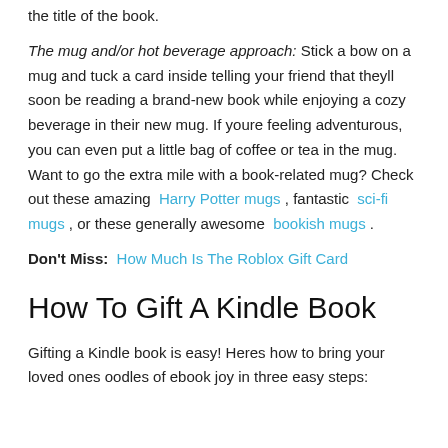the title of the book.
The mug and/or hot beverage approach: Stick a bow on a mug and tuck a card inside telling your friend that theyll soon be reading a brand-new book while enjoying a cozy beverage in their new mug. If youre feeling adventurous, you can even put a little bag of coffee or tea in the mug. Want to go the extra mile with a book-related mug? Check out these amazing Harry Potter mugs , fantastic sci-fi mugs , or these generally awesome bookish mugs .
Don't Miss: How Much Is The Roblox Gift Card
How To Gift A Kindle Book
Gifting a Kindle book is easy! Heres how to bring your loved ones oodles of ebook joy in three easy steps: